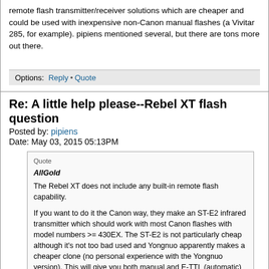remote flash transmitter/receiver solutions which are cheaper and could be used with inexpensive non-Canon manual flashes (a Vivitar 285, for example). pipiens mentioned several, but there are tons more out there.
Options: Reply • Quote
Re: A little help please--Rebel XT flash question
Posted by: pipiens
Date: May 03, 2015 05:13PM
Quote
AllGold
The Rebel XT does not include any built-in remote flash capability.

If you want to do it the Canon way, they make an ST-E2 infrared transmitter which should work with most Canon flashes with model numbers >= 430EX. The ST-E2 is not particularly cheap although it's not too bad used and Yongnuo apparently makes a cheaper clone (no personal experience with the Yongnuo version). This will give you both manual and E-TTL (automatic) modes.

If you don't want to do it the Canon way, there are any number of remote flash transmitter/receiver solutions which are cheaper and could be used with inexpensive non-Canon manual flashes (a Vivitar 285, for example). pipiens mentioned several, but there are tons more out there.
There are indeed lots of manual flashes you could use. Old Vivitar 285s run at high enough sync voltage to damage electronics. The